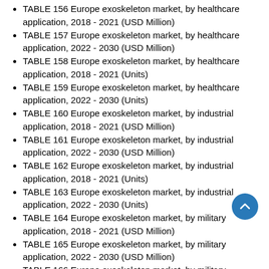TABLE 156 Europe exoskeleton market, by healthcare application, 2018 - 2021 (USD Million)
TABLE 157 Europe exoskeleton market, by healthcare application, 2022 - 2030 (USD Million)
TABLE 158 Europe exoskeleton market, by healthcare application, 2018 - 2021 (Units)
TABLE 159 Europe exoskeleton market, by healthcare application, 2022 - 2030 (Units)
TABLE 160 Europe exoskeleton market, by industrial application, 2018 - 2021 (USD Million)
TABLE 161 Europe exoskeleton market, by industrial application, 2022 - 2030 (USD Million)
TABLE 162 Europe exoskeleton market, by industrial application, 2018 - 2021 (Units)
TABLE 163 Europe exoskeleton market, by industrial application, 2022 - 2030 (Units)
TABLE 164 Europe exoskeleton market, by military application, 2018 - 2021 (USD Million)
TABLE 165 Europe exoskeleton market, by military application, 2022 - 2030 (USD Million)
TABLE 166 Europe exoskeleton market, by military